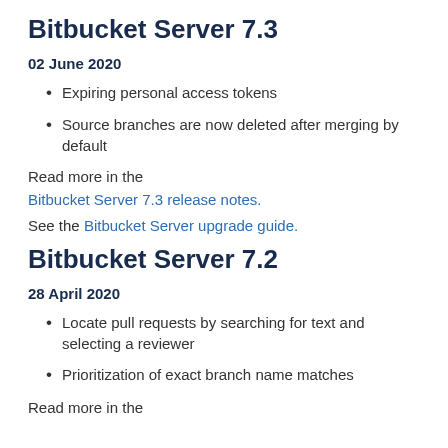Bitbucket Server 7.3
02 June 2020
Expiring personal access tokens
Source branches are now deleted after merging by default
Read more in the Bitbucket Server 7.3 release notes.
See the Bitbucket Server upgrade guide.
Bitbucket Server 7.2
28 April 2020
Locate pull requests by searching for text and selecting a reviewer
Prioritization of exact branch name matches
Read more in the